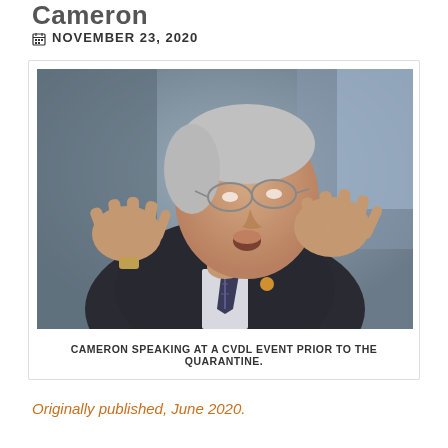Cameron
NOVEMBER 23, 2020
[Figure (photo): An older man with gray hair and glasses, wearing a dark suit and striped tie, speaking at an event with both hands raised expressively.]
CAMERON SPEAKING AT A CVDL EVENT PRIOR TO THE QUARANTINE.
Originally published, June 2020.